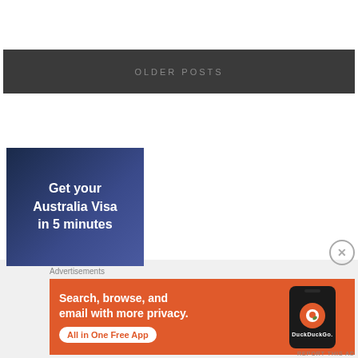OLDER POSTS
[Figure (illustration): Advertisement for Australia Visa service with text 'Get your Australia Visa in 5 minutes' on dark blue background]
Advertisements
[Figure (illustration): DuckDuckGo advertisement: 'Search, browse, and email with more privacy. All in One Free App' on orange background with phone image showing DuckDuckGo logo]
REPORT THIS AD